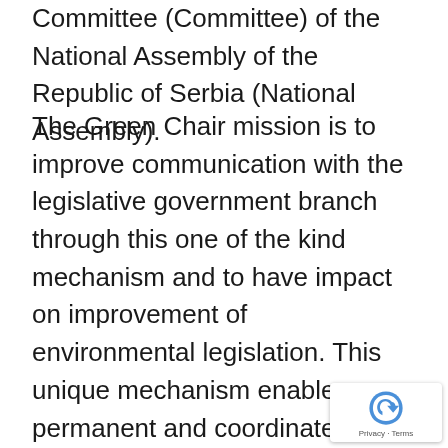Committee (Committee) of the National Assembly of the Republic of Serbia (National Assembly).
The Green Chair mission is to improve communication with the legislative government branch through this one of the kind mechanism and to have impact on improvement of environmental legislation. This unique mechanism enables permanent and coordinated participation of civil society representatives in the work of the Committee and is one of the most important mechanisms of including citizens in the work of parliamentary committees in general.